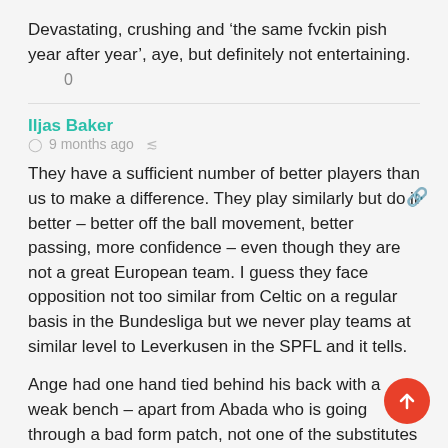Devastating, crushing and ‘the same fvckin pish year after year’, aye, but definitely not entertaining.
0
Iljas Baker ● 9 months ago
They have a sufficient number of better players than us to make a difference. They play similarly but do it better – better off the ball movement, better passing, more confidence – even though they are not a great European team. I guess they face opposition not too similar from Celtic on a regular basis in the Bundesliga but we never play teams at similar level to Leverkusen in the SPFL and it tells.
Ange had one hand tied behind his back with a weak bench – apart from Abada who is going through a bad form patch, not one of the substitutes plays regularly for any length of time and usually none of them contributes much even in the SLFL. Ange knows the